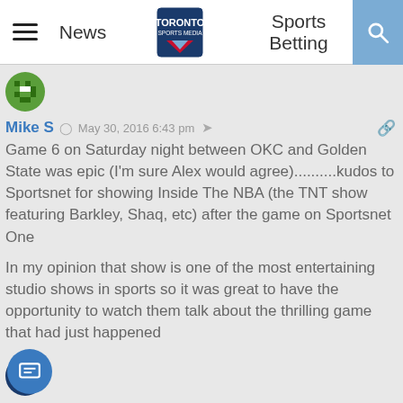News | Toronto Sports Media | Sports Betting
[Figure (illustration): Green pixel avatar icon for user Mike S]
Mike S  May 30, 2016 6:43 pm
Game 6 on Saturday night between OKC and Golden State was epic (I'm sure Alex would agree)..........kudos to Sportsnet for showing Inside The NBA (the TNT show featuring Barkley, Shaq, etc) after the game on Sportsnet One
In my opinion that show is one of the most entertaining studio shows in sports so it was great to have the opportunity to watch them talk about the thrilling game that had just happened
[Figure (illustration): Blue avatar icon for user Rob J]
Rob J  May 30, 2016 6:48 pm
The local media is an extension of ownership, which is a blatant